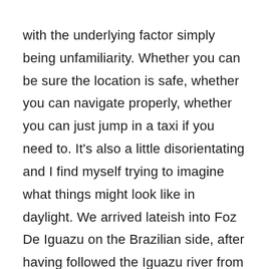with the underlying factor simply being unfamiliarity. Whether you can be sure the location is safe, whether you can navigate properly, whether you can just jump in a taxi if you need to. It's also a little disorientating and I find myself trying to imagine what things might look like in daylight. We arrived lateish into Foz De Iguazu on the Brazilian side, after having followed the Iguazu river from from near where it starts in Curitiba. It was then easy enough to navigate the foggy nighttime streets to the Iguazu Guesthouse. We'd been reasonably lucky with our choices of accommodation, but inevitably we'd stumbled upon a hostel with an echoey bar out the back and no noise curfew.
So we didn't sleep much; even with earplugs we